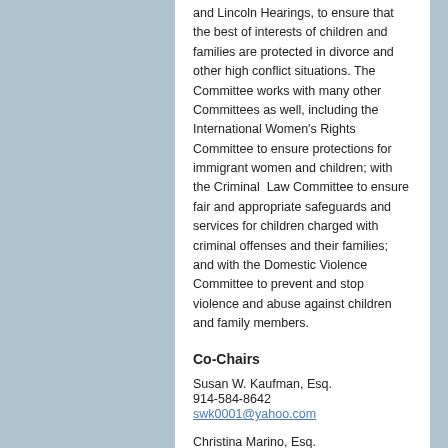and Lincoln Hearings, to ensure that the best of interests of children and families are protected in divorce and other high conflict situations. The Committee works with many other Committees as well, including the International Women's Rights Committee to ensure protections for immigrant women and children; with the Criminal Law Committee to ensure fair and appropriate safeguards and services for children charged with criminal offenses and their families; and with the Domestic Violence Committee to prevent and stop violence and abuse against children and family members.
Co-Chairs
Susan W. Kaufman, Esq.
914-584-8642
swk0001@yahoo.com
Christina Marino, Esq.
516-775-3960
christinamarinoesq@aol.com